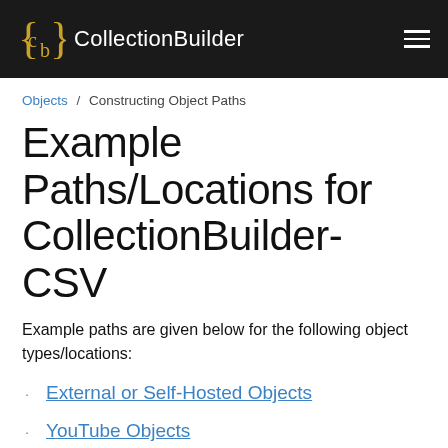CollectionBuilder
Objects / Constructing Object Paths
Example Paths/Locations for CollectionBuilder-CSV
Example paths are given below for the following object types/locations:
External or Self-Hosted Objects
YouTube Objects
Vimeo Objects